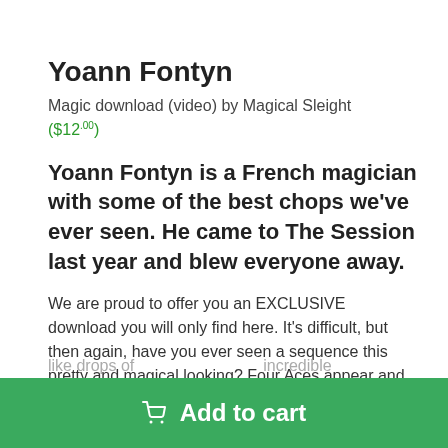Yoann Fontyn
Magic download (video) by Magical Sleight
($12.00)
Yoann Fontyn is a French magician with some of the best chops we've ever seen. He came to The Session last year and blew everyone away.
We are proud to offer you an EXCLUSIVE download you will only find here. It's difficult, but then again, have you ever seen a sequence this pretty and magical looking? Four Aces appear and disappear like drops of...incredible performance.
Add to cart